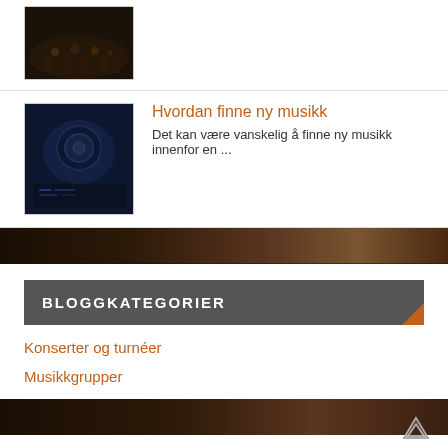[Figure (photo): Concert image thumbnail - dark crowd silhouettes against warm stage lights]
Hvordan finne ny musikk
Det kan være vanskelig å finne ny musikk innenfor en ...
[Figure (photo): Headphones on blue-lit keyboard thumbnail]
[Figure (photo): Dark textured banner divider with warm brown tones]
BLOGGKATEGORIER
Konserter og turnéer
Musikkgrupper
[Figure (photo): Dark textured banner divider]
ARRANGEMENTER